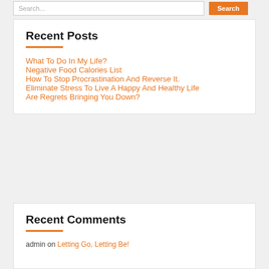Recent Posts
What To Do In My Life?
Negative Food Calories List
How To Stop Procrastination And Reverse It.
Eliminate Stress To Live A Happy And Healthy Life
Are Regrets Bringing You Down?
Recent Comments
admin on Letting Go, Letting Be!